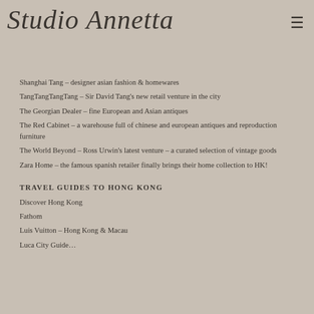Studio Annetta
Shanghai Tang – designer asian fashion & homewares
TangTangTangTang – Sir David Tang's new retail venture in the city
The Georgian Dealer – fine European and Asian antiques
The Red Cabinet – a warehouse full of chinese and european antiques and reproduction furniture
The World Beyond – Ross Urwin's latest venture – a curated selection of vintage goods
Zara Home – the famous spanish retailer finally brings their home collection to HK!
TRAVEL GUIDES TO HONG KONG
Discover Hong Kong
Fathom
Luis Vuitton – Hong Kong & Macau
Luca City Guide...